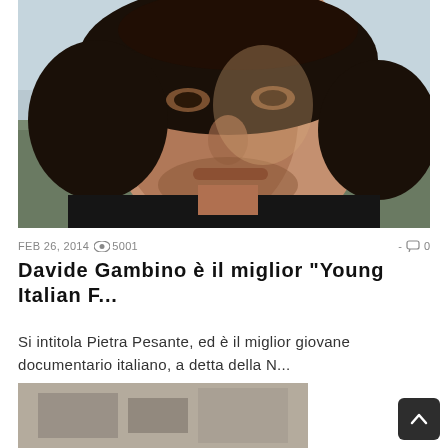[Figure (photo): Close-up portrait of a young man with shoulder-length dark hair, stubble beard, wearing a dark jacket, photographed outdoors near water on a cloudy day.]
FEB 26, 2014 👁 5001   -  💬 0
Davide Gambino è il miglior "Young Italian F..."
Si intitola Pietra Pesante, ed è il miglior giovane documentario italiano, a detta della N...
[Figure (photo): Partial view of a black-and-white photograph at the bottom of the page.]